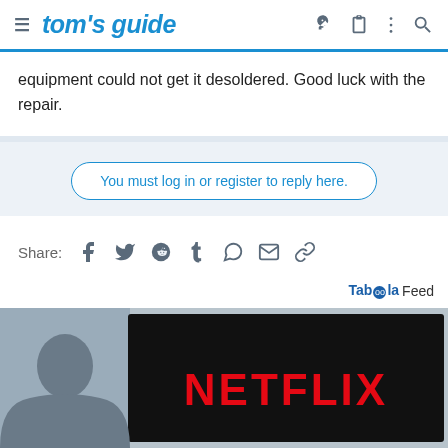tom's guide
equipment could not get it desoldered. Good luck with the repair.
You must log in or register to reply here.
Share:
Taboola Feed
[Figure (screenshot): Netflix logo on TV screen with person sitting in front]